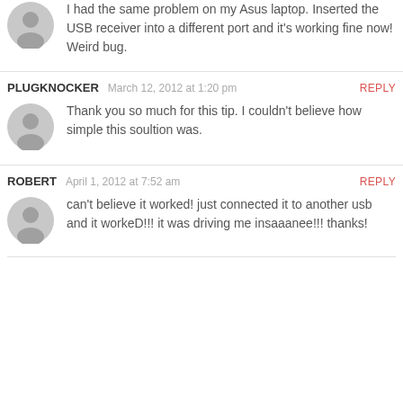I had the same problem on my Asus laptop. Inserted the USB receiver into a different port and it's working fine now! Weird bug.
PLUGKNOCKER  March 12, 2012 at 1:20 pm  REPLY
Thank you so much for this tip. I couldn't believe how simple this soultion was.
ROBERT  April 1, 2012 at 7:52 am  REPLY
can't believe it worked! just connected it to another usb and it workeD!!! it was driving me insaaanee!!! thanks!